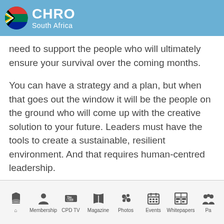CHRO South Africa
need to support the people who will ultimately ensure your survival over the coming months.
You can have a strategy and a plan, but when that goes out the window it will be the people on the ground who will come up with the creative solution to your future. Leaders must have the tools to create a sustainable, resilient environment. And that requires human-centred leadership.
Home  Membership  CPD TV  Magazine  Photos  Events  Whitepapers  Pa...